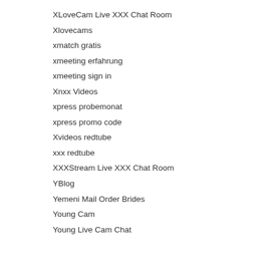XLoveCam Live XXX Chat Room
Xlovecams
xmatch gratis
xmeeting erfahrung
xmeeting sign in
Xnxx Videos
xpress probemonat
xpress promo code
Xvideos redtube
xxx redtube
XXXStream Live XXX Chat Room
YBlog
Yemeni Mail Order Brides
Young Cam
Young Live Cam Chat